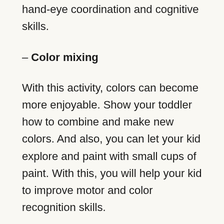hand-eye coordination and cognitive skills.
– Color mixing
With this activity, colors can become more enjoyable. Show your toddler how to combine and make new colors. And also, you can let your kid explore and paint with small cups of paint. With this, you will help your kid to improve motor and color recognition skills.
– Opposites
You can try with opposites with your kid. Choose few easy opposites like happy-sad, play together